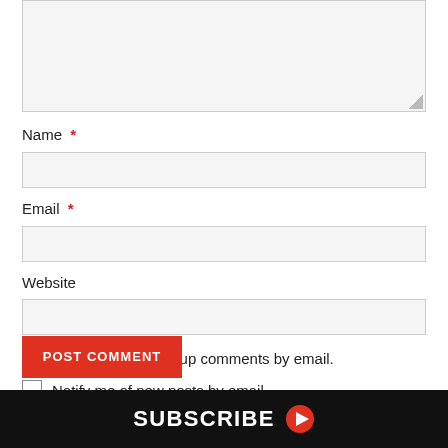[Figure (screenshot): Textarea input box (empty, light gray background, resize handle at bottom-right)]
Name *
[Figure (screenshot): Name text input field (empty, light gray background)]
Email *
[Figure (screenshot): Email text input field (empty, light gray background)]
Website
[Figure (screenshot): Website text input field (empty, light gray background)]
Notify me of follow-up comments by email.
Notify me of new posts by email.
POST COMMENT
SUBSCRIBE